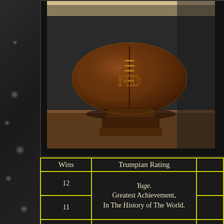[Figure (photo): A wooden carved football trophy/sculpture with 'ND' (Notre Dame) lettering on it, sitting on a wooden base/pedestal. The football is dark brown wood with carved lacing details. Set against a wooden surface background with warm golden lighting.]
| Wins | Trumpian Rating |  |
| --- | --- | --- |
| 12 | Yuge.
Greatest Achievement,
In The History of The World. |  |
| 11 |  |  |
| 10 |  |  |
| 9 |  |  |